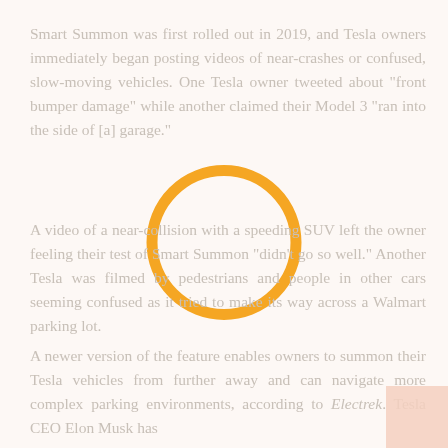Smart Summon was first rolled out in 2019, and Tesla owners immediately began posting videos of near-crashes or confused, slow-moving vehicles. One Tesla owner tweeted about "front bumper damage" while another claimed their Model 3 "ran into the side of [a] garage."
[Figure (other): An orange circle outline (ring) overlaid on the page content as a decorative or annotation element.]
A video of a near-collision with a speeding SUV left the owner feeling their test of Smart Summon "didn't go so well." Another Tesla was filmed by pedestrians and people in other cars seeming confused as it tried to make its way across a Walmart parking lot.
A newer version of the feature enables owners to summon their Tesla vehicles from further away and can navigate more complex parking environments, according to Electrek. Tesla CEO Elon Musk has